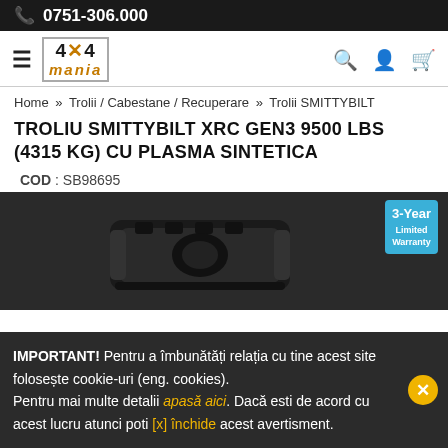☎ 0751-306.000
[Figure (logo): 4x4 mania logo with hamburguer menu and search/account/cart icons]
Home » Trolii / Cabestane / Recuperare » Trolii SMITTYBILT
TROLIU SMITTYBILT XRC GEN3 9500 LBS (4315 KG) CU PLASMA SINTETICA
COD : SB98695
[Figure (photo): Smittybilt XRC GEN3 winch with synthetic rope, dark product photo with 3-Year Limited Warranty badge]
IMPORTANT! Pentru a îmbunătăți relația cu tine acest site folosește cookie-uri (eng. cookies). Pentru mai multe detalii apasă aici. Dacă esti de acord cu acest lucru atunci poti [x] închide acest avertisment.